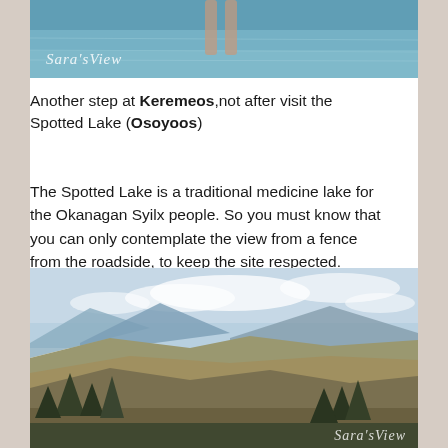[Figure (photo): Top portion of a photo showing someone standing in water (Keremeos lake), with a 'Sara's View' watermark in italic script at bottom left]
Another step at Keremeos,not after visit the Spotted Lake (Osoyoos)
The Spotted Lake is a traditional medicine lake for the Okanagan Syilx people. So you must know that you can only contemplate the view from a fence from the roadside, to keep the site respected.
[Figure (photo): Panoramic landscape photo of hilly terrain near Osoyoos/Spotted Lake area, showing mountains, a lake in the valley, dry grassland hills, and coniferous trees in the foreground, with a watermark at bottom right]